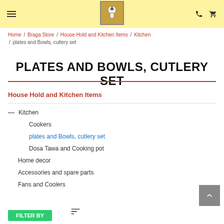☰ [logo] ✆ 🛒
Home / Braga Store / House Hold and Kitchen Items / Kitchen / plates and Bowls, cutlery set
PLATES AND BOWLS, CUTLERY SET
House Hold and Kitchen Items
Kitchen
Cookers
plates and Bowls, cutlery set
Dosa Tawa and Cooking pot
Home decor
Accessories and spare parts
Fans and Coolers
FILTER BY